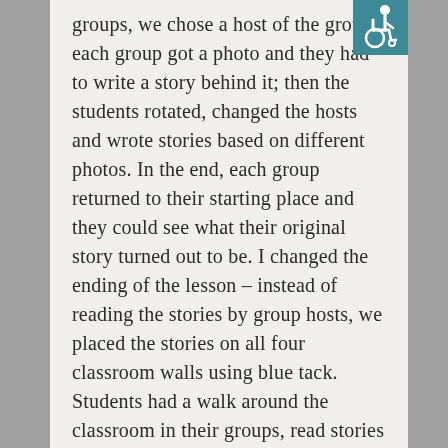groups, we chose a host of the group, each group got a photo and they had to write a story behind it; then the students rotated, changed the hosts and wrote stories based on different photos. In the end, each group returned to their starting place and they could see what their original story turned out to be. I changed the ending of the lesson – instead of reading the stories by group hosts, we placed the stories on all four classroom walls using blue tack. Students had a walk around the classroom in their groups, read stories and discussed them. They assessed the stories by giving them from one to four stars for creativity, grammar, accuracy...
[Figure (logo): Wheelchair accessibility icon — white figure in wheelchair on teal/dark cyan background]